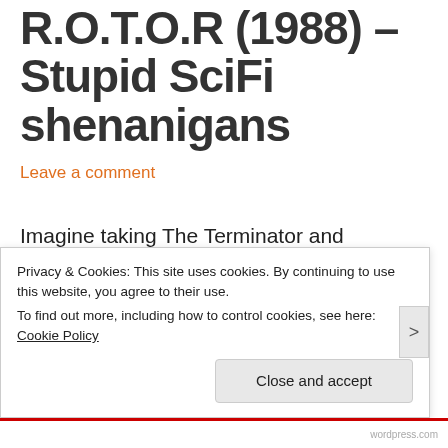R.O.T.O.R (1988) – Stupid SciFi shenanigans
Leave a comment
Imagine taking The Terminator and RoboCop and melting them for scrap in Megacity One, while a Noir protagonist watches on, narrating of course. Now water it down, and throw in irrelevant mouthfuls of dialogue, and you've got this strangely amusing, postmodern rubbish heap.
Privacy & Cookies: This site uses cookies. By continuing to use this website, you agree to their use. To find out more, including how to control cookies, see here: Cookie Policy
Close and accept